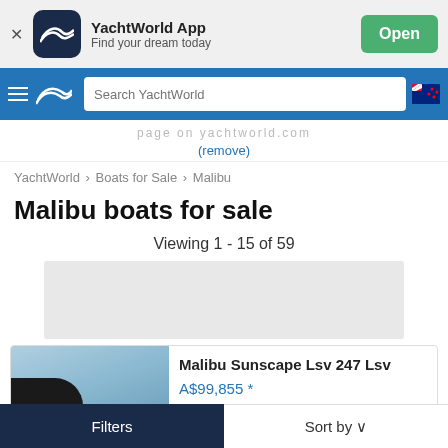[Figure (screenshot): YachtWorld App banner with dark navy icon showing wave logo, app name and tagline, and green Open button]
[Figure (screenshot): Navigation bar with hamburger menu, YachtWorld wave logo, search box reading Search YachtWorld, and New Zealand flag icon]
page on yachtworld.com (remove)
YachtWorld > Boats for Sale > Malibu
Malibu boats for sale
Viewing 1 - 15 of 59
[Figure (other): Grey advertisement placeholder rectangle]
Malibu Sunscape Lsv 247 Lsv
A$99,855 *
Filters
Sort by